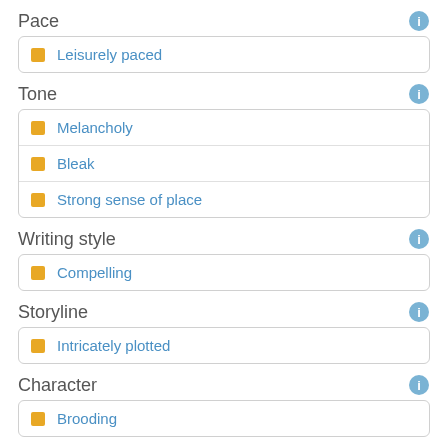Pace
Leisurely paced
Tone
Melancholy
Bleak
Strong sense of place
Writing style
Compelling
Storyline
Intricately plotted
Character
Brooding